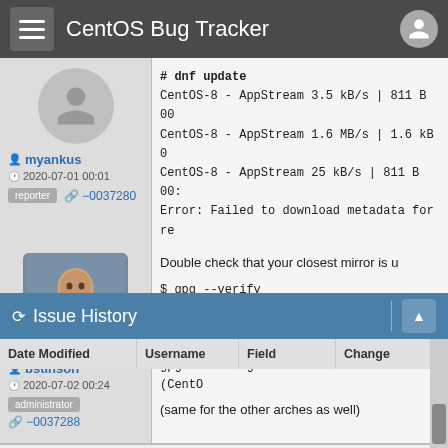CentOS Bug Tracker
myankus
2020-07-01 00:01
reporter  −0037280
# dnf update
CentOS-8 - AppStream 3.5 kB/s | 811 B 00
CentOS-8 - AppStream 1.6 MB/s | 1.6 kB 0
CentOS-8 - AppStream 25 kB/s | 811 B 00:
Error: Failed to download metadata for re
bstinson
2020-07-02 00:24
administrator  −0037288
Double check that your closest mirror is u
$ gpg --verify 8.2.2004/AppStream/x86_64
gpg: Signature made Tue 30 Jun 2020 07:2
gpg: Good signature from "CentOS (CentO
(same for the other arches as well)
Issue History
| Date Modified | Username | Field | Change |
| --- | --- | --- | --- |